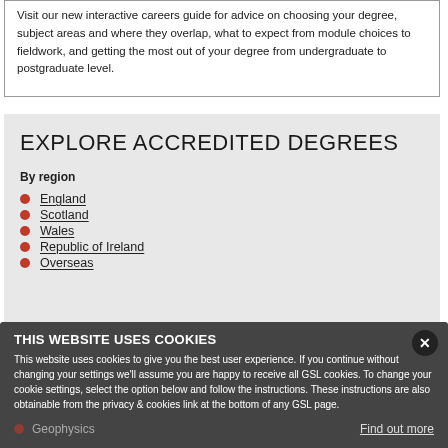Visit our new interactive careers guide for advice on choosing your degree, subject areas and where they overlap, what to expect from module choices to fieldwork, and getting the most out of your degree from undergraduate to postgraduate level.
EXPLORE ACCREDITED DEGREES
By region
England
Scotland
Wales
Republic of Ireland
Overseas
By degree specialism
THIS WEBSITE USES COOKIES
This website uses cookies to give you the best user experience. If you continue without changing your settings we'll assume you are happy to receive all GSL cookies. To change your cookie settings, select the option below and follow the instructions. These instructions are also obtainable from the privacy & cookies link at the bottom of any GSL page.
Geophysics
Find out more